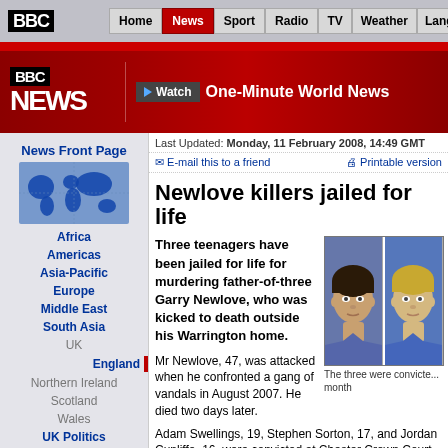[Figure (screenshot): BBC website top navigation bar with BBC logo and nav links: Home, News (active), Sport, Radio, TV, Weather, Languages]
[Figure (logo): BBC News logo on dark red banner with 'Watch One-Minute World News' button]
BBC NEWS
News Front Page
Africa
Americas
Asia-Pacific
Europe
Middle East
South Asia
UK
England
Northern Ireland
Scotland
Wales
UK Politics
Education
Magazine
Business
Health
Last Updated: Monday, 11 February 2008, 14:49 GMT
E-mail this to a friend   Printable version
Newlove killers jailed for life
[Figure (photo): Two mugshot-style photos of two young males side by side, with caption 'The three were convicte... month']
Three teenagers have been jailed for life for murdering father-of-three Garry Newlove, who was kicked to death outside his Warrington home.
Mr Newlove, 47, was attacked when he confronted a gang of vandals in August 2007. He died two days later.
Adam Swellings, 19, Stephen Sorton, 17, and Jordan Cunliffe, 16, were convicted at Chester Crown Court last month.
Swellings, of Meredith Street, Crewe, was sentenced by serve a minimum 17 years in jail.
Sorton, of Honister Street, Warrington, was ordered to s